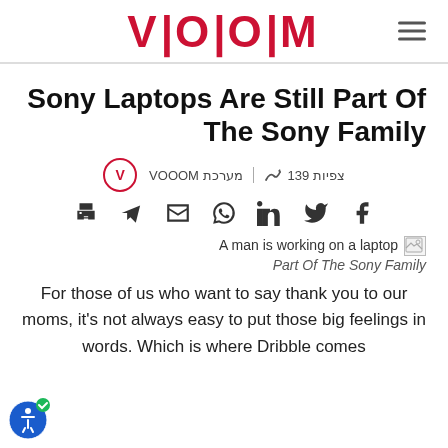VOOOM
Sony Laptops Are Still Part Of The Sony Family
מערכת VOOOM | 139 צפיות
[Figure (illustration): Share bar icons: print, telegram, email, whatsapp, linkedin, twitter, facebook]
A man is working on a laptop
Part Of The Sony Family
For those of us who want to say thank you to our moms, it's not always easy to put those big feelings in words. Which is where Dribble comes